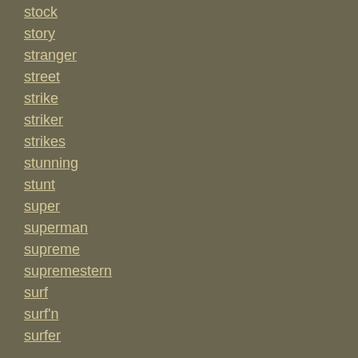stock
story
stranger
street
strike
striker
strikes
stunning
stunt
super
superman
supreme
supremestern
surf
surf'n
surfer